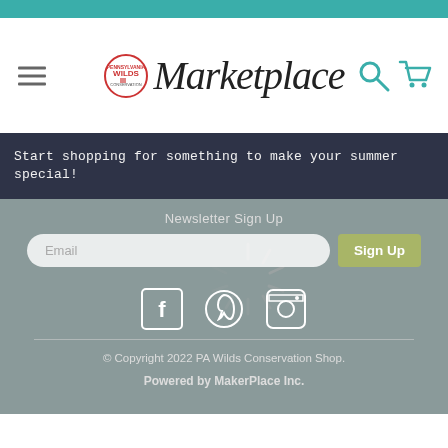[Figure (screenshot): Teal top navigation bar]
[Figure (logo): PA Wilds Conservation Shop logo circle with Marketplace script text, hamburger menu icon on left, search and cart icons on right]
Start shopping for something to make your summer special!
Newsletter Sign Up
Email
Sign Up
[Figure (illustration): Loading spinner icon overlay]
[Figure (illustration): Social media icons: Facebook, Pinterest/P, Instagram]
© Copyright 2022 PA Wilds Conservation Shop.
Powered by MakerPlace Inc.